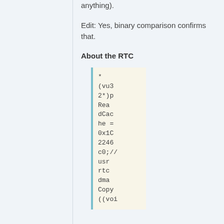anything).
Edit: Yes, binary comparison confirms that.
About the RTC
* (vu32*)pReadCache = 0x1C2246c0;// usr rtc dma Copy((voi